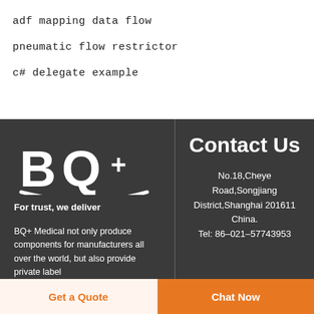adf mapping data flow
pneumatic flow restrictor
c# delegate example
[Figure (logo): BQ+ logo with plus sign and smile curve, white on dark background]
For trust, we deliver
BQ+ Medical not only produce components for manufacturers all over the world, but also provide private label
Contact Us
No.18,Cheye Road,Songjiang District,Shanghai 201611 China. Tel: 86–021–57743953
Get a Quote
Chat Now